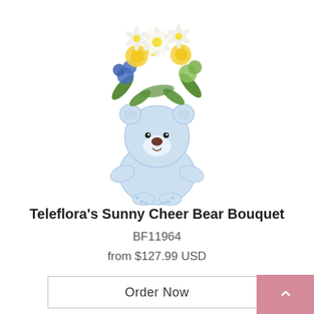[Figure (photo): A ceramic light blue teddy bear vase holding a floral bouquet with white lilies, yellow roses, and blue/green flowers on a white background.]
Teleflora's Sunny Cheer Bear Bouquet
BF11964
from $127.99 USD
Order Now
[Figure (photo): A bouquet of red roses, pink flowers, white chrysanthemums and green foliage, partially visible at the bottom of the page.]